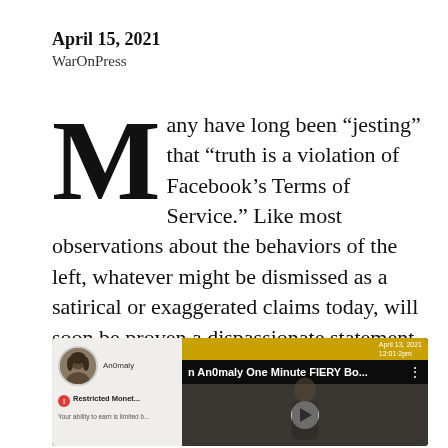April 15, 2021
WarOnPress
Many have long been “jesting” that “truth is a violation of Facebook’s Terms of Service.” Like most observations about the behaviors of the left, whatever might be dismissed as a satirical or exaggerated claims today, will soon be proven a dispassionate statement of fact.
[Figure (screenshot): Screenshot of a Facebook video notification showing a user avatar, 'Restricted Monetization' warning, and a video titled 'An0maly One Minute FIERY Bo...' dated April 13, 2021. A play button is visible over what appears to be a person speaking at a podium.]